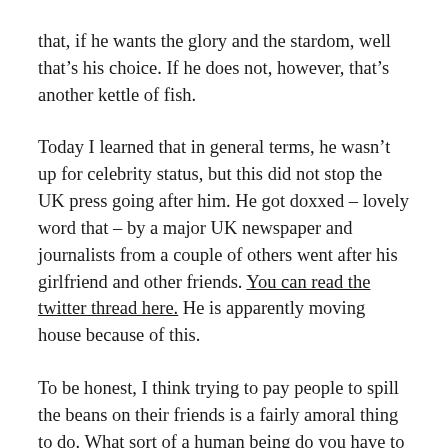that, if he wants the glory and the stardom, well that's his choice. If he does not, however, that's another kettle of fish.
Today I learned that in general terms, he wasn't up for celebrity status, but this did not stop the UK press going after him. He got doxxed – lovely word that – by a major UK newspaper and journalists from a couple of others went after his girlfriend and other friends. You can read the twitter thread here. He is apparently moving house because of this.
To be honest, I think trying to pay people to spill the beans on their friends is a fairly amoral thing to do. What sort of a human being do you have to be to do it? Sure, we all think UK media is a cesspit of despair, particularly certain of its newspapers, but still… wouldn't it be nice if instead of going after people who never meant to be famous, who did